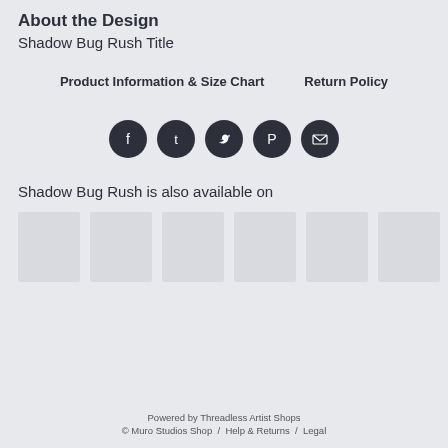About the Design
Shadow Bug Rush Title
Product Information & Size Chart      Return Policy
[Figure (infographic): Five circular dark social media icons: Facebook, Tumblr, Twitter, Pinterest, and Email/envelope]
Shadow Bug Rush is also available on
[Figure (other): Six rectangular product thumbnail placeholder images in a row]
Powered by Threadless Artist Shops
© Muro Studios Shop  /  Help & Returns  /  Legal